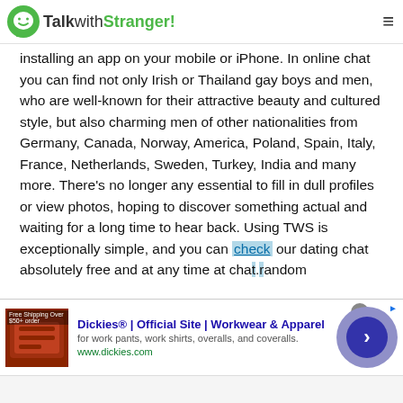TalkwithStranger!
installing an app on your mobile or iPhone. In online chat you can find not only Irish or Thailand gay boys and men, who are well-known for their attractive beauty and cultured style, but also charming men of other nationalities from Germany, Canada, Norway, America, Poland, Spain, Italy, France, Netherlands, Sweden, Turkey, India and many more. There's no longer any essential to fill in dull profiles or view photos, hoping to discover something actual and waiting for a long time to hear back. Using TWS is exceptionally simple, and you can check our dating chat absolutely free and at any time at chatandom
[Figure (screenshot): Advertisement banner for Dickies Official Site - Workwear & Apparel with product image, ad text, and navigation button]